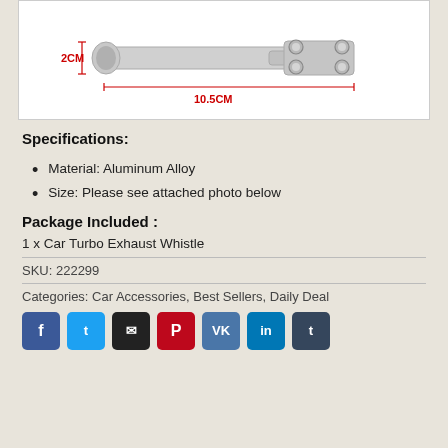[Figure (photo): Product photo of a Car Turbo Exhaust Whistle made of aluminum alloy, showing dimensions: 2CM width and 10.5CM length, with dimension lines in red.]
Specifications:
Material: Aluminum Alloy
Size: Please see attached photo below
Package Included :
1 x Car Turbo Exhaust Whistle
SKU: 222299
Categories: Car Accessories, Best Sellers, Daily Deal